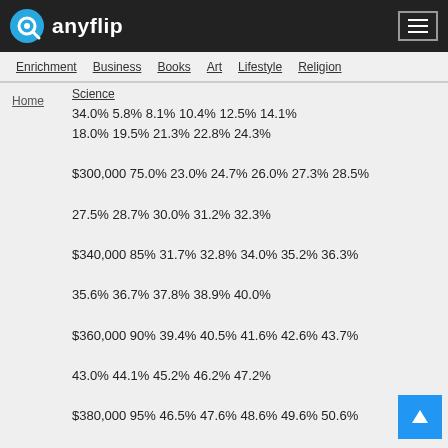anyflip
Enrichment  Business  Books  Art  Lifestyle  Religion
Home  Science  34.0% 5.8% 8.1% 10.4% 12.5% 14.1%  18.0% 19.5% 21.3% 22.8% 24.3%  $300,000 75.0% 23.0% 24.7% 26.0% 27.3% 28.5%  27.5% 28.7% 30.0% 31.2% 32.3%  $340,000 85% 31.7% 32.8% 34.0% 35.2% 36.3%  35.6% 36.7% 37.8% 38.9% 40.0%  $360,000 90% 39.4% 40.5% 41.6% 42.6% 43.7%  43.0% 44.1% 45.2% 46.2% 47.2%  $380,000 95% 46.5% 47.6% 48.6% 49.6% 50.6%  $400,000 100%  $420,000 105%  $440,000 110%